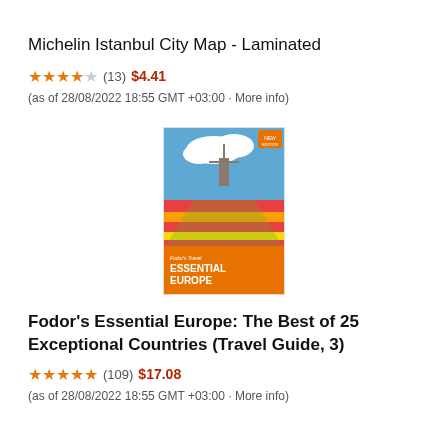Michelin Istanbul City Map - Laminated
★★★★☆ (13) $4.41 (as of 28/08/2022 18:55 GMT +03:00 · More info)
[Figure (photo): Book cover of Fodor's Essential Europe: The Best of 25 Exceptional Countries (Travel Guide, 3), showing a tulip field with a windmill and orange banner]
Fodor's Essential Europe: The Best of 25 Exceptional Countries (Travel Guide, 3)
★★★★½ (109) $17.08 (as of 28/08/2022 18:55 GMT +03:00 · More info)